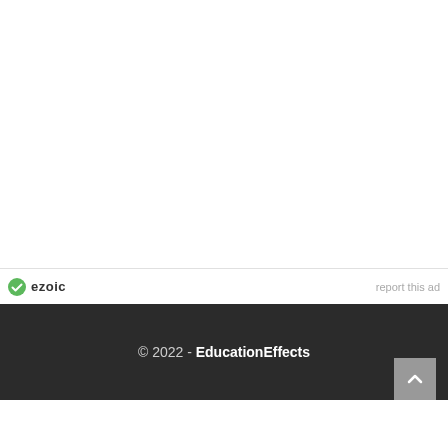[Figure (logo): Ezoic logo with green circle checkmark icon and bold 'ezoic' text, followed by light grey 'report this ad' text on the right]
© 2022 - EducationEffects